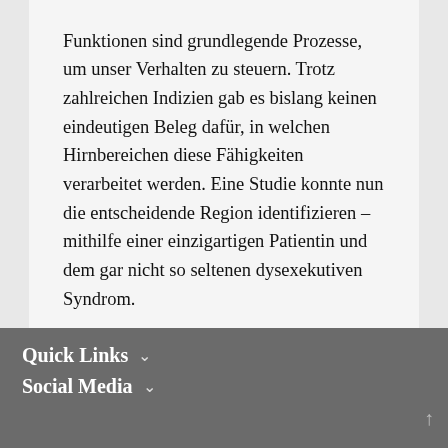Funktionen sind grundlegende Prozesse, um unser Verhalten zu steuern. Trotz zahlreicher Indizien gab es bislang keinen eindeutigen Beleg dafür, in welchen Hirnbereichen diese Fähigkeiten verarbeitet werden. Eine Studie konnte nun die entscheidende Region identifizieren – mithilfe einer einzigartigen Patientin und dem gar nicht so seltenen dysexekutiven Syndrom.
Quick Links  Social Media